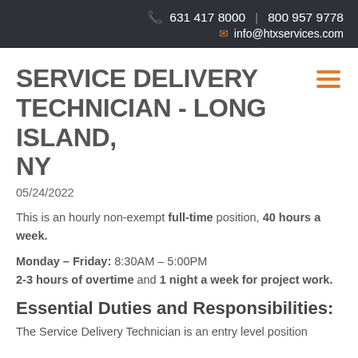631 417 8000 | 800 957 9778 | info@htxservices.com
SERVICE DELIVERY TECHNICIAN - LONG ISLAND, NY
05/24/2022
This is an hourly non-exempt full-time position, 40 hours a week.
Monday – Friday: 8:30AM – 5:00PM
2-3 hours of overtime and 1 night a week for project work.
Essential Duties and Responsibilities:
The Service Delivery Technician is an entry level position